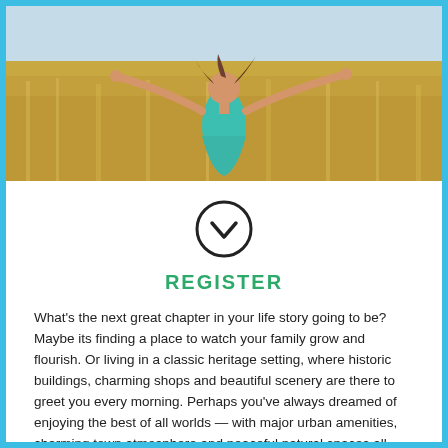[Figure (photo): Woman in teal dress standing in a golden wheat field with arms spread wide, sunny day]
[Figure (other): Circle with a checkmark/down-chevron icon inside, black outline]
REGISTER
What's the next great chapter in your life story going to be? Maybe its finding a place to watch your family grow and flourish. Or living in a classic heritage setting, where historic buildings, charming shops and beautiful scenery are there to greet you every morning. Perhaps you've always dreamed of enjoying the best of all worlds — with major urban amenities, charming town atmosphere and peaceful natural spaces all close at hand.
Located in the historic town of Fergus — just